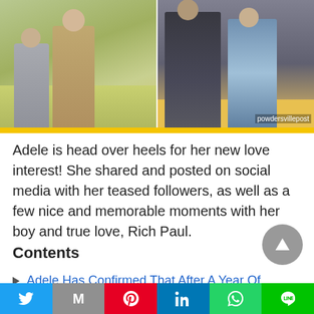[Figure (photo): Two-panel photo collage: left panel shows two people standing outdoors on grass in casual clothes; right panel shows two people sitting, one in a patterned dress. Watermark reads 'powdersvillepost' in bottom right corner.]
Adele is head over heels for her new love interest! She shared and posted on social media with her teased followers, as well as a few nice and memorable moments with her boy and true love, Rich Paul.
Contents
Adele Has Confirmed That After A Year Of
Twitter Gmail Pinterest LinkedIn WhatsApp LINE